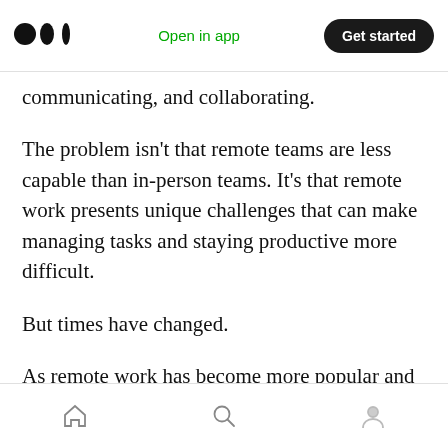Medium app header — Open in app | Get started
communicating, and collaborating.
The problem isn't that remote teams are less capable than in-person teams. It's that remote work presents unique challenges that can make managing tasks and staying productive more difficult.
But times have changed.
As remote work has become more popular and technologies have advanced, a rising tide of remote-friendly tools designed for remote-first
Bottom navigation: Home, Search, Profile